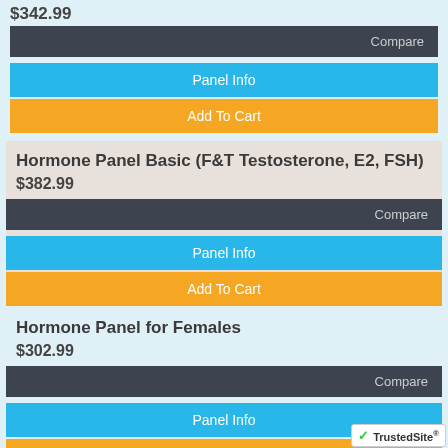$342.99
Compare
Panel Info
Add To Cart
Hormone Panel Basic (F&T Testosterone, E2, FSH)
$382.99
Compare
Panel Info
Add To Cart
Hormone Panel for Females
$302.99
Compare
Panel Info
Add To Cart
Hormone Panel for Males